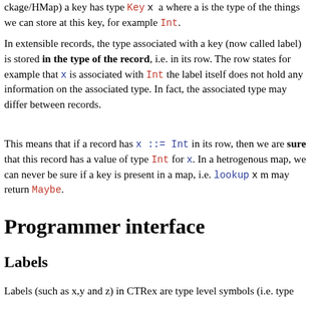ckage/HMap) a key has type Key x a where a is the type of the things we can store at this key, for example Int.
In extensible records, the type associated with a key (now called label) is stored in the type of the record, i.e. in its row. The row states for example that x is associated with Int the label itself does not hold any information on the associated type. In fact, the associated type may differ between records.
This means that if a record has x ::= Int in its row, then we are sure that this record has a value of type Int for x. In a hetrogenous map, we can never be sure if a key is present in a map, i.e. lookup x m may return Maybe.
Programmer interface
Labels
Labels (such as x,y and z) in CTRex are type level symbols (i.e. type